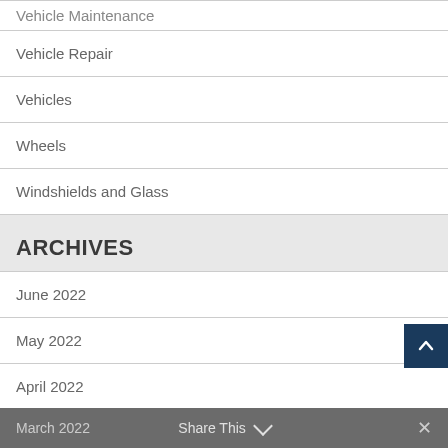Vehicle Maintenance
Vehicle Repair
Vehicles
Wheels
Windshields and Glass
ARCHIVES
June 2022
May 2022
April 2022
March 2022   Share This   ✕